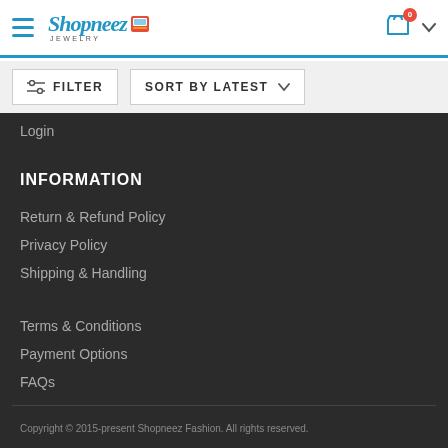Shopneez Jewelry — navigation header with hamburger menu, logo, cart icon
FILTER | SORT BY LATEST
Login
INFORMATION
Return & Refund Policy
Privacy Policy
Shipping & Handling
Terms & Conditions
Payment Options
FAQs
Copyright © 2015-present Shopneez Fashion. All rights reserved.